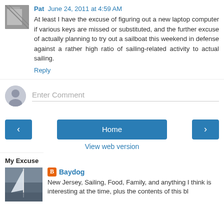Pat June 24, 2011 at 4:59 AM
At least I have the excuse of figuring out a new laptop computer if various keys are missed or substituted, and the further excuse of actually planning to try out a sailboat this weekend in defense against a rather high ratio of sailing-related activity to actual sailing.
Reply
Enter Comment
[Figure (infographic): Navigation buttons: left arrow, Home, right arrow, and View web version link]
My Excuse
[Figure (photo): Sailboat mast photo thumbnail]
Baydog
New Jersey, Sailing, Food, Family, and anything I think is interesting at the time, plus the contents of this bl...